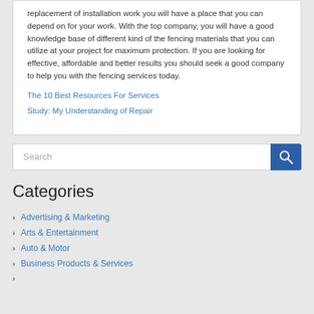replacement of installation work you will have a place that you can depend on for your work. With the top company, you will have a good knowledge base of different kind of the fencing materials that you can utilize at your project for maximum protection. If you are looking for effective, affordable and better results you should seek a good company to help you with the fencing services today.
The 10 Best Resources For Services
Study: My Understanding of Repair
Advertising & Marketing
Arts & Entertainment
Auto & Motor
Business Products & Services